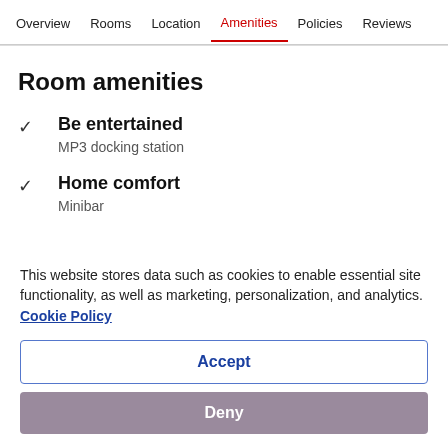Overview  Rooms  Location  Amenities  Policies  Reviews
Room amenities
Be entertained
MP3 docking station
Home comfort
Minibar
This website stores data such as cookies to enable essential site functionality, as well as marketing, personalization, and analytics. Cookie Policy
Accept
Deny